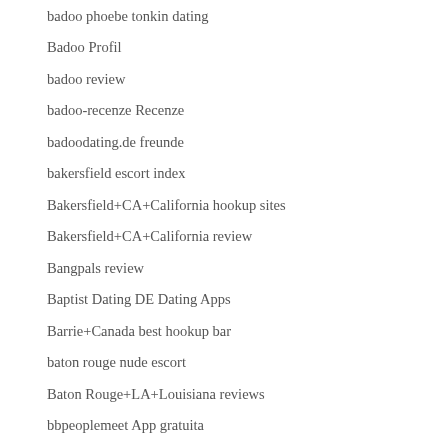badoo phoebe tonkin dating
Badoo Profil
badoo review
badoo-recenze Recenze
badoodating.de freunde
bakersfield escort index
Bakersfield+CA+California hookup sites
Bakersfield+CA+California review
Bangpals review
Baptist Dating DE Dating Apps
Barrie+Canada best hookup bar
baton rouge nude escort
Baton Rouge+LA+Louisiana reviews
bbpeoplemeet App gratuita
bbpeoplemeet bezplatna aplikace